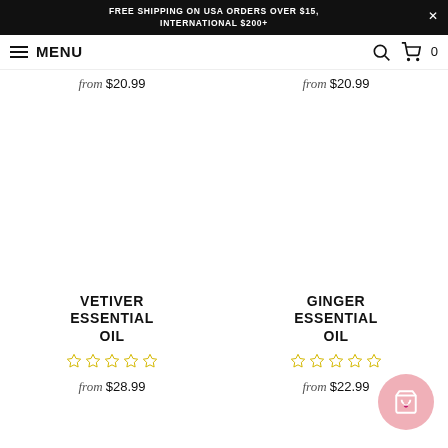FREE SHIPPING ON USA ORDERS OVER $15, INTERNATIONAL $200+
MENU
from $20.99
from $20.99
VETIVER ESSENTIAL OIL
GINGER ESSENTIAL OIL
from $28.99
from $22.99